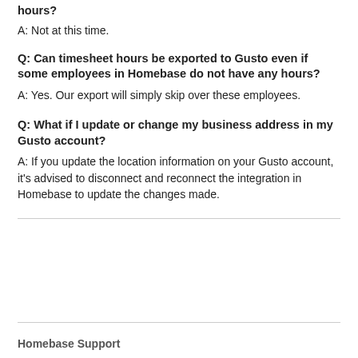hours?
A: Not at this time.
Q: Can timesheet hours be exported to Gusto even if some employees in Homebase do not have any hours?
A: Yes. Our export will simply skip over these employees.
Q: What if I update or change my business address in my Gusto account?
A: If you update the location information on your Gusto account, it's advised to disconnect and reconnect the integration in Homebase to update the changes made.
Homebase Support